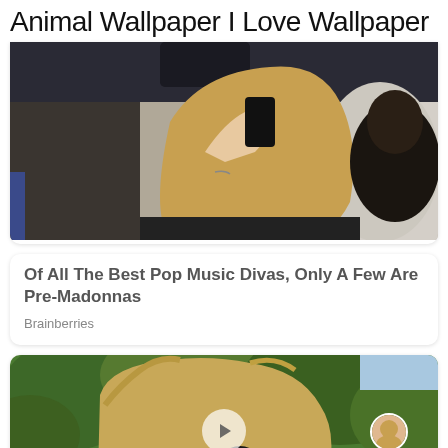Animal Wallpaper I Love Wallpaper
[Figure (photo): Photo of a blonde woman in a car applying makeup with black nails, with a man in the background]
Of All The Best Pop Music Divas, Only A Few Are Pre-Madonnas
Brainberries
[Figure (photo): Photo of a blonde woman outdoors with trees in background, with a play button overlay, avatar circle overlay, and heart icon overlay]